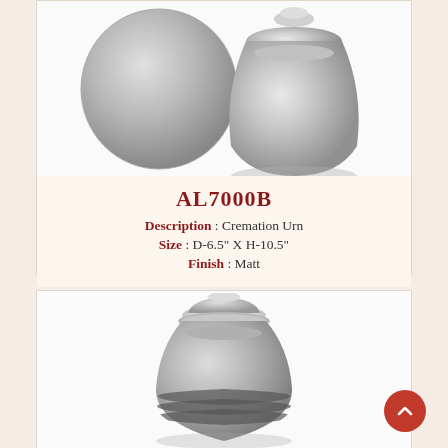[Figure (photo): Silver/grey matte cremation urn product photo showing the urn with lid placed beside it, partially cropped at top]
AL7000B
Description : Cremation Urn
Size : D-6.5" X H-10.5"
Finish : Matt
[Figure (photo): Silver/grey matte cremation urn with domed lid and horizontal stripe bands near the base, full product photo]